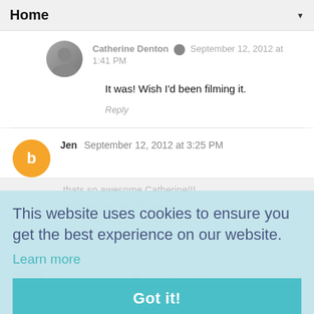Home ▼
Catherine Denton  September 12, 2012 at 1:41 PM
It was! Wish I'd been filming it.
Reply
Jen  September 12, 2012 at 3:25 PM
thats so awesome Catherine!!! pleased for both of you :)
This website uses cookies to ensure you get the best experience on our website.
Learn more
Got it!
7:46
Thanks, Jen!